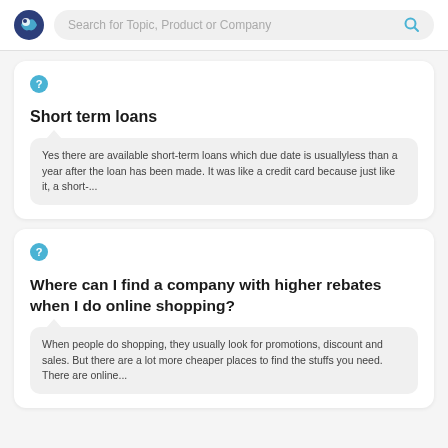Search for Topic, Product or Company
Short term loans
Yes there are available short-term loans which due date is usuallyless than a year after the loan has been made. It was like a credit card because just like it, a short-...
Where can I find a company with higher rebates when I do online shopping?
When people do shopping, they usually look for promotions, discount and sales. But there are a lot more cheaper places to find the stuffs you need. There are online...